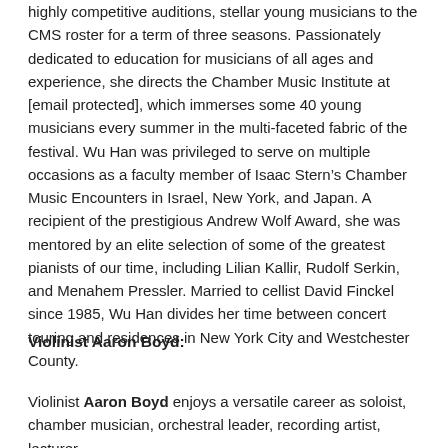highly competitive auditions, stellar young musicians to the CMS roster for a term of three seasons. Passionately dedicated to education for musicians of all ages and experience, she directs the Chamber Music Institute at [email protected], which immerses some 40 young musicians every summer in the multi-faceted fabric of the festival. Wu Han was privileged to serve on multiple occasions as a faculty member of Isaac Stern’s Chamber Music Encounters in Israel, New York, and Japan. A recipient of the prestigious Andrew Wolf Award, she was mentored by an elite selection of some of the greatest pianists of our time, including Lilian Kallir, Rudolf Serkin, and Menahem Pressler. Married to cellist David Finckel since 1985, Wu Han divides her time between concert touring and residences in New York City and Westchester County.
Violinist Aaron Boyd:
Violinist Aaron Boyd enjoys a versatile career as soloist, chamber musician, orchestral leader, recording artist, lecturer,